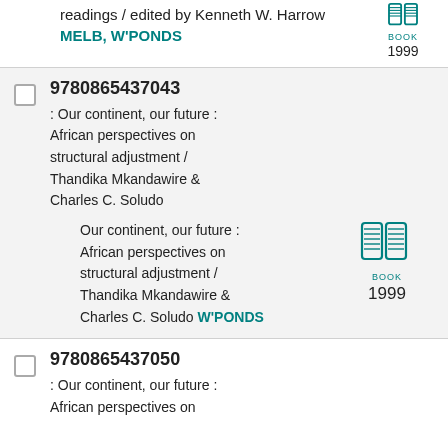readings / edited by Kenneth W. Harrow MELB, W'PONDS
[Figure (illustration): Book icon with label BOOK and year 1999]
9780865437043 : Our continent, our future : African perspectives on structural adjustment / Thandika Mkandawire & Charles C. Soludo
Our continent, our future : African perspectives on structural adjustment / Thandika Mkandawire & Charles C. Soludo W'PONDS 1999
9780865437050 : Our continent, our future : African perspectives on